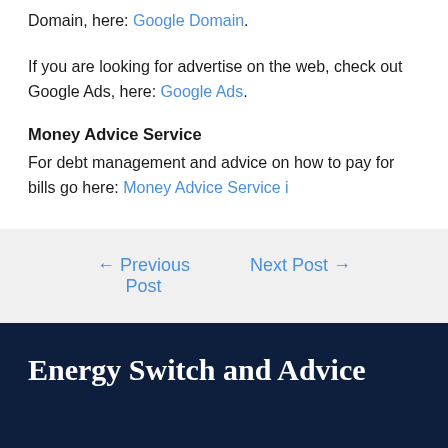Domain, here: Google Domain.
If you are looking for advertise on the web, check out Google Ads, here: Google Ads.
Money Advice Service
For debt management and advice on how to pay for bills go here: Money Advice Service i
← Previous Post    Next Post →
Energy Switch and Advice